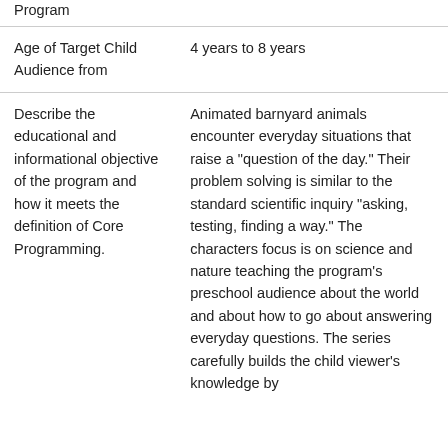| Age of Target Child Audience from | 4 years to 8 years |
| Describe the educational and informational objective of the program and how it meets the definition of Core Programming. | Animated barnyard animals encounter everyday situations that raise a "question of the day." Their problem solving is similar to the standard scientific inquiry "asking, testing, finding a way." The characters focus is on science and nature teaching the program's preschool audience about the world and about how to go about answering everyday questions. The series carefully builds the child viewer's knowledge by |